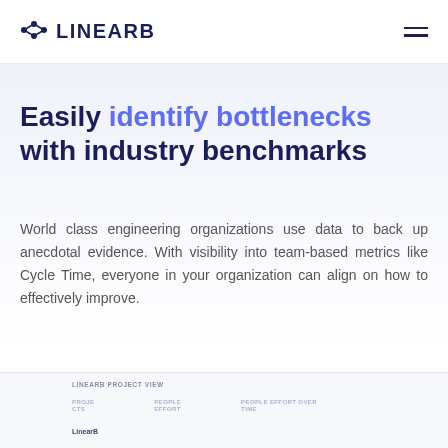LINEARB
Easily identify bottlenecks with industry benchmarks
World class engineering organizations use data to back up anecdotal evidence. With visibility into team-based metrics like Cycle Time, everyone in your organization can align on how to effectively improve.
[Figure (screenshot): LinearB Project View dashboard showing columns: PROJECTS, PEOPLE EFFORT, PEOPLE EFFORT OVER TIME with a row for LinearB]